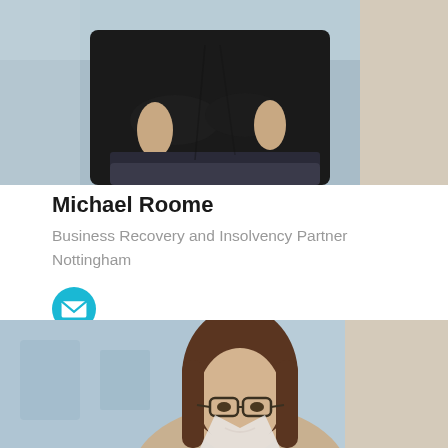[Figure (photo): Photo of Michael Roome, a man in a black t-shirt with arms crossed, shown from torso down against a beige/grey background]
Michael Roome
Business Recovery and Insolvency Partner
Nottingham
[Figure (illustration): Teal circular email/envelope icon for contact]
[Figure (photo): Photo of a woman with brown hair and glasses, shown from shoulders up, in an office/blue background setting]